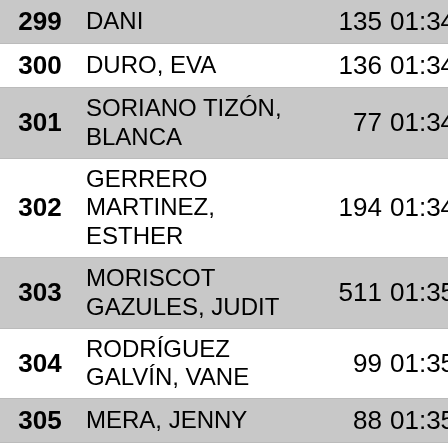| Rank | Name | Bib | Time |
| --- | --- | --- | --- |
| 299 | DANI | 135 | 01:34:37 |
| 300 | DURO, EVA | 136 | 01:34:37 |
| 301 | SORIANO TIZÓN, BLANCA | 77 | 01:34:40 |
| 302 | GERRERO MARTINEZ, ESTHER | 194 | 01:34:54 |
| 303 | MORISCOT GAZULES, JUDIT | 511 | 01:35:21 |
| 304 | RODRÍGUEZ GALVÍN, VANE | 99 | 01:35:24 |
| 305 | MERA, JENNY | 88 | 01:35:43 |
| 306 | MUNTER, HEIKE | 85 | 01:35:44 |
| 307 | DURAN BAHÍ, JOAN | 544 | 01:36:08 |
| 308 | SALA CAPDEVILA, MARGARITA | 545 | 01:36:09 |
| 309 | AURA MASIP, SANDRA | 424 | 01:36:15 |
| 310 | MUNACH CASELL... |  |  |